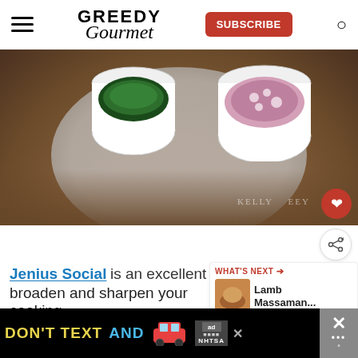GREEDY Gourmet | SUBSCRIBE
[Figure (photo): Close-up photo of two white ceramic bowls on a silver tray on a wooden board. Left bowl contains fresh green herbs/chives, right bowl contains chopped red onion. A watermark reads 'KELLY EEY' in the lower right area.]
Jenius Social is an excellent v... broaden and sharpen your cooking
WHAT'S NEXT → Lamb Massaman...
[Figure (screenshot): Advertisement banner: black background with yellow text 'DON'T TEXT' and cyan/white text 'AND', red car emoji/icon, ad badge with 'ad' symbol, NHTSA text. Close button X. Right side grey panel with X and dots.]